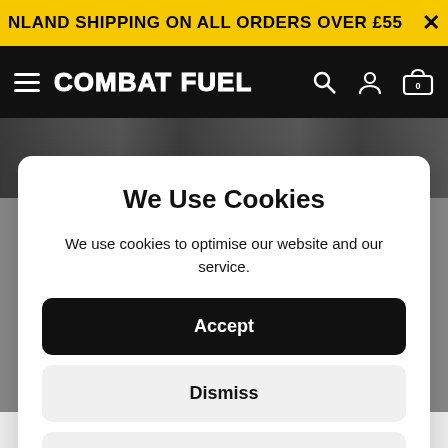NLAND SHIPPING ON ALL ORDERS OVER £55
COMBAT FUEL
[Figure (screenshot): Partial gym/workout photo strip behind cookie modal]
We Use Cookies
We use cookies to optimise our website and our service.
Accept
Dismiss
Preferences
Cookie Policy  Privacy Policy
TELL US MORE ABOUT